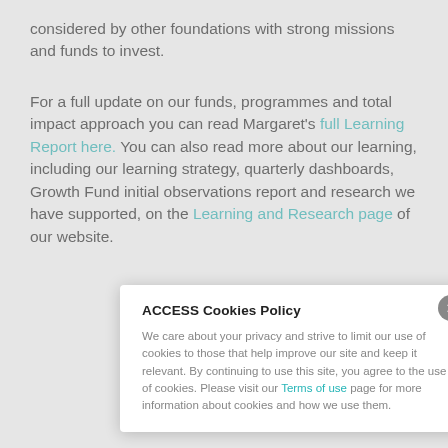considered by other foundations with strong missions and funds to invest.
For a full update on our funds, programmes and total impact approach you can read Margaret's full Learning Report here. You can also read more about our learning, including our learning strategy, quarterly dashboards, Growth Fund initial observations report and research we have supported, on the Learning and Research page of our website.
ACCESS Cookies Policy

We care about your privacy and strive to limit our use of cookies to those that help improve our site and keep it relevant. By continuing to use this site, you agree to the use of cookies. Please visit our Terms of use page for more information about cookies and how we use them.